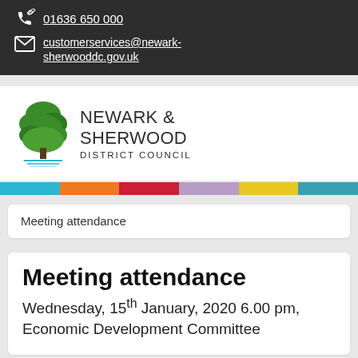01636 650 000
customerservices@newark-sherwooddc.gov.uk
[Figure (logo): Newark & Sherwood District Council logo with green tree illustration]
[Figure (infographic): Multicolor bar with cyan, orange, red, purple, yellow, teal segments]
Meeting attendance
Meeting attendance
Wednesday, 15th January, 2020 6.00 pm, Economic Development Committee